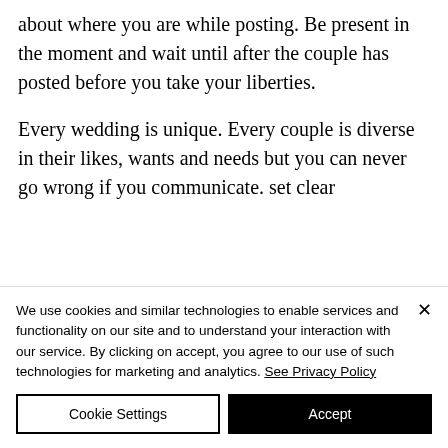about where you are while posting. Be present in the moment and wait until after the couple has posted before you take your liberties.
Every wedding is unique. Every couple is diverse in their likes, wants and needs but you can never go wrong if you communicate. set clear
We use cookies and similar technologies to enable services and functionality on our site and to understand your interaction with our service. By clicking on accept, you agree to our use of such technologies for marketing and analytics. See Privacy Policy